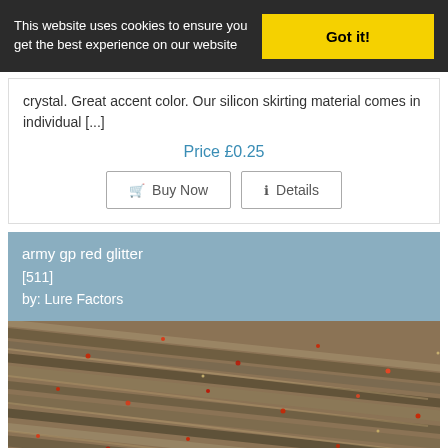This website uses cookies to ensure you get the best experience on our website | Got it!
crystal. Great accent color. Our silicon skirting material comes in individual [...]
Price £0.25
Buy Now   Details
army gp red glitter [511] by: Lure Factors
[Figure (photo): Close-up photo of army gp red glitter silicon skirting strands showing olive/brown strands with red glitter flecks]